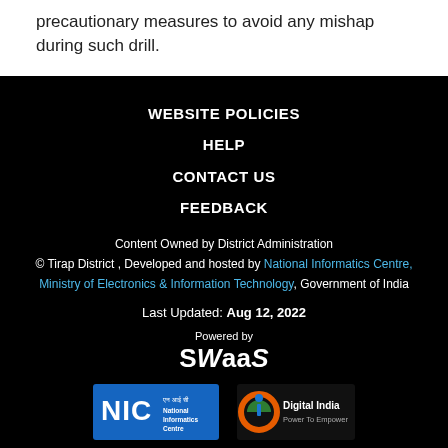precautionary measures to avoid any mishap during such drill.
WEBSITE POLICIES
HELP
CONTACT US
FEEDBACK
Content Owned by District Administration
© Tirap District , Developed and hosted by National Informatics Centre, Ministry of Electronics & Information Technology, Government of India
Last Updated: Aug 12, 2022
Powered by SWaaS
[Figure (logo): NIC National Informatics Centre logo (blue background with white NIC text and Hindi text) and Digital India Power To Empower logo]